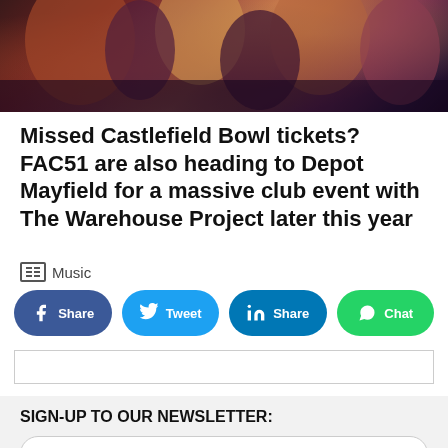[Figure (photo): Photo of people at a club/concert event with dark lighting and warm tones]
Missed Castlefield Bowl tickets? FAC51 are also heading to Depot Mayfield for a massive club event with The Warehouse Project later this year
Music
Share  Tweet  Share  Chat
SIGN-UP TO OUR NEWSLETTER:
Your email address
Subscribe